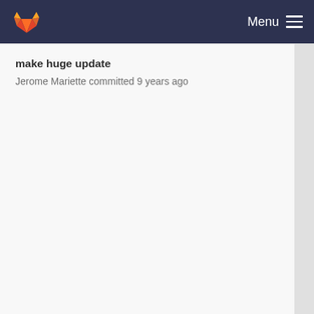GitLab — Menu
make huge update
Jerome Mariette committed 9 years ago
reset ok from gui
Jerome Mariette committed 7 years ago
make huge update
Jerome Mariette committed 9 years ago